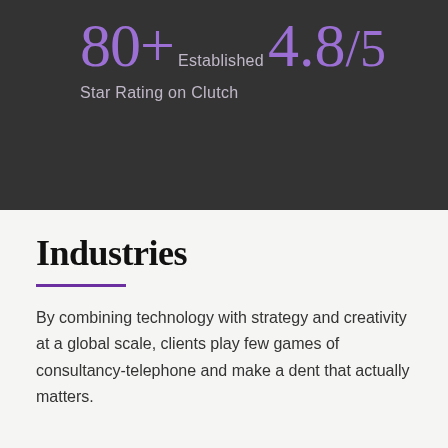80+
Established
4.8/5
Star Rating on Clutch
Industries
By combining technology with strategy and creativity at a global scale, clients play few games of consultancy-telephone and make a dent that actually matters.